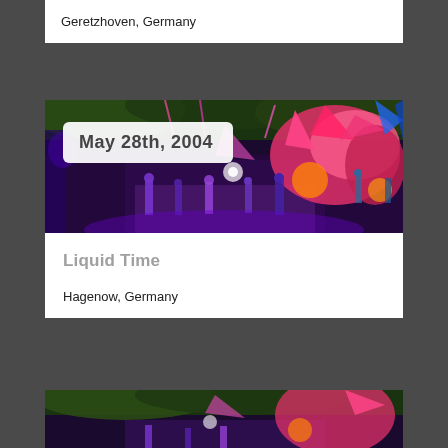Geretzhoven, Germany
[Figure (photo): Colorful night festival scene with UV-lit art installations, people walking, psychedelic sculptures and decorations hanging overhead]
May 28th, 2004
Liquid Time
Hagenow, Germany
[Figure (photo): Another festival scene visible at the bottom of the page, similar colorful outdoor night festival setting]